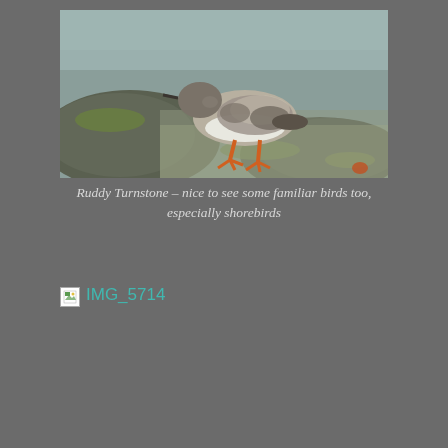[Figure (photo): A Ruddy Turnstone bird walking on rocks near water with green algae. The bird has brown/grey mottled plumage on top, white belly, and orange legs.]
Ruddy Turnstone – nice to see some familiar birds too, especially shorebirds
[Figure (photo): Broken image placeholder with link text IMG_5714]